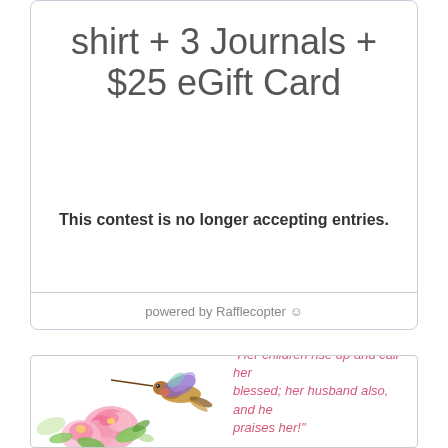shirt + 3 Journals + $25 eGift Card
This contest is no longer accepting entries.
powered by Rafflecopter
[Figure (illustration): Watercolor illustration of a hummingbird with pink roses and green leaves]
"Her children rise up and call her blessed; her husband also, and he praises her!"